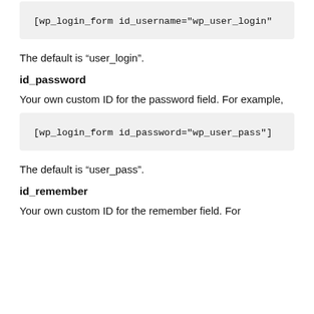[Figure (screenshot): Code block showing: [wp_login_form id_username="wp_user_login"]
The default is “user_login”.
id_password
Your own custom ID for the password field. For example,
[Figure (screenshot): Code block showing: [wp_login_form id_password="wp_user_pass"]]
The default is “user_pass”.
id_remember
Your own custom ID for the remember field. For example,